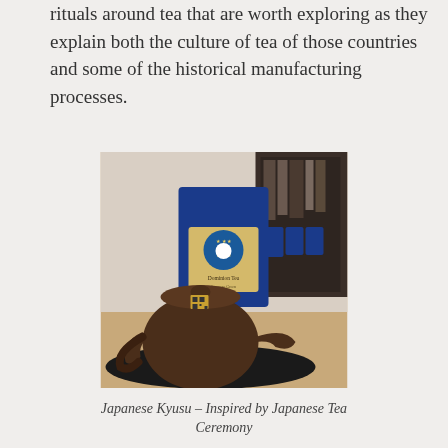rituals around tea that are worth exploring as they explain both the culture of tea of those countries and some of the historical manufacturing processes.
[Figure (photo): A Japanese Kyusu teapot (dark brown clay) in the foreground on a black tray, with a blue foil bag of Dominion Tea branded tea in the background. Bookshelf and wooden furniture visible behind.]
Japanese Kyusu – Inspired by Japanese Tea Ceremony